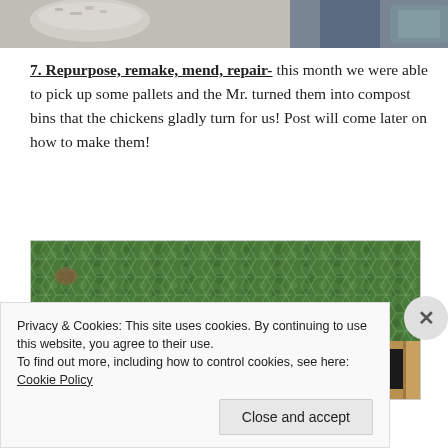[Figure (photo): Top strip of a photo showing a bowl and a person's leg in blue clothing, partially visible at the top of the page.]
7. Repurpose, remake, mend, repair- this month we were able to pick up some pallets and the Mr. turned them into compost bins that the chickens gladly turn for us! Post will come later on how to make them!
[Figure (photo): Photo of a compost bin made from pallets with green chicken wire/mesh on top showing plants growing inside, and a black liner in the wooden pallet frame below.]
Privacy & Cookies: This site uses cookies. By continuing to use this website, you agree to their use.
To find out more, including how to control cookies, see here: Cookie Policy
Close and accept